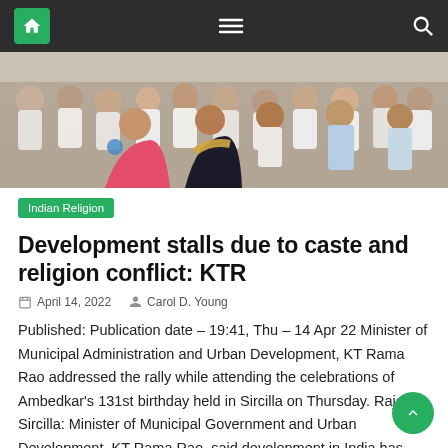Navigation bar with home, menu, and search icons
[Figure (photo): Group of people sitting together at an event, some wearing white clothes with ribbons and badges. A woman in a pink saree and another in a black saree are prominent in the foreground.]
Indian Religion
Development stalls due to caste and religion conflict: KTR
April 14, 2022   Carol D. Young
Published: Publication date – 19:41, Thu – 14 Apr 22 Minister of Municipal Administration and Urban Development, KT Rama Rao addressed the rally while attending the celebrations of Ambedkar's 131st birthday held in Sircilla on Thursday. Rajanna Sircilla: Minister of Municipal Government and Urban Development, KT Rama Rao, said development in India has been pushed [...]